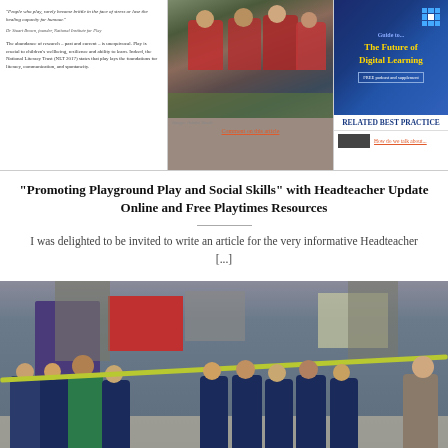[Figure (photo): Top section showing a magazine/webpage layout with text on the left, a photo of school children in red uniforms in the center, and a digital learning advertisement on the right]
“Promoting Playground Play and Social Skills” with Headteacher Update Online and Free Playtimes Resources
I was delighted to be invited to write an article for the very informative Headteacher [...]
[Figure (photo): Classroom photo showing school children sitting in a circle pulling a rope/band in a group activity, with a teacher on the right side]